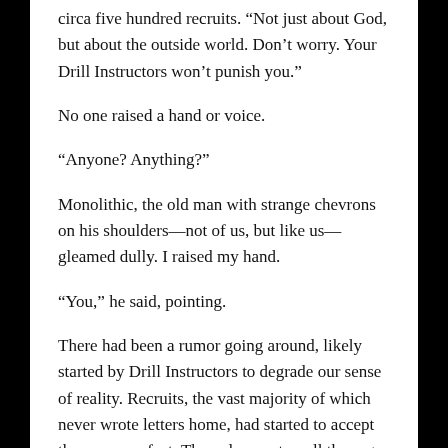circa five hundred recruits. “Not just about God, but about the outside world. Don’t worry. Your Drill Instructors won’t punish you.”
No one raised a hand or voice.
“Anyone? Anything?”
Monolithic, the old man with strange chevrons on his shoulders—not of us, but like us—gleamed dully. I raised my hand.
“You,” he said, pointing.
There had been a rumor going around, likely started by Drill Instructors to degrade our sense of reality. Recruits, the vast majority of which never wrote letters home, had started to accept the rumor as fact. The only way to pull the rug out from under the DIs was through humor. And I was sure I’d make everyone roar with laughter.